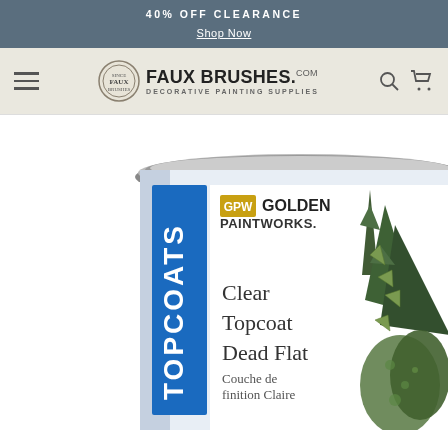40% OFF CLEARANCE
Shop Now
[Figure (logo): Faux Brushes .com Decorative Painting Supplies logo with circular emblem]
[Figure (photo): GPM Golden Paintworks Clear Topcoat Dead Flat paint can (Topcoats), showing product label with 'Clear Topcoat Dead Flat / Couche de finition Claire' text and decorative plant imagery on side]